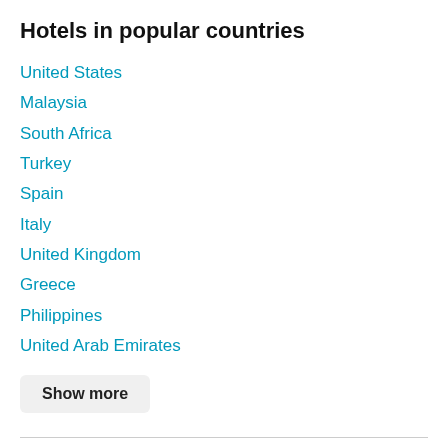Hotels in popular countries
United States
Malaysia
South Africa
Turkey
Spain
Italy
United Kingdom
Greece
Philippines
United Arab Emirates
Show more
Hotels in popular McCormick Place neighborhoods